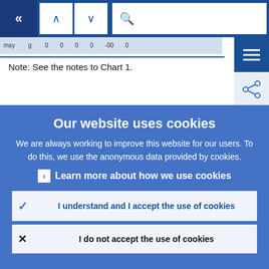Navigation bar with back, up, down, and search controls
Note: See the notes to Chart 1.
Our website uses cookies
We are always working to improve this website for our users. To do this, we use the anonymous data provided by cookies.
Learn more about how we use cookies
I understand and I accept the use of cookies
I do not accept the use of cookies